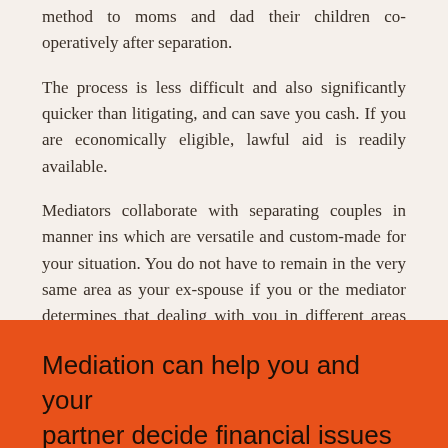method to moms and dad their children co-operatively after separation.
The process is less difficult and also significantly quicker than litigating, and can save you cash. If you are economically eligible, lawful aid is readily available.
Mediators collaborate with separating couples in manner ins which are versatile and custom-made for your situation. You do not have to remain in the very same area as your ex-spouse if you or the mediator determines that dealing with you in different areas would be more suitable.
Mediation can help you and your partner decide financial issues on